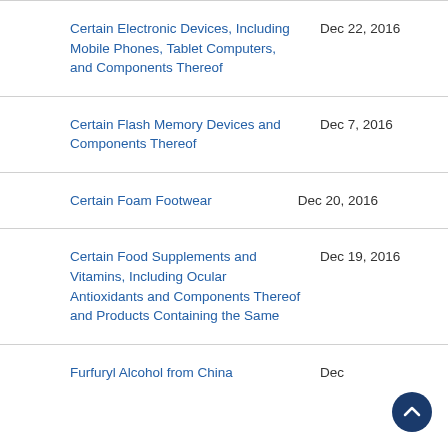Certain Electronic Devices, Including Mobile Phones, Tablet Computers, and Components Thereof | Dec 22, 2016
Certain Flash Memory Devices and Components Thereof | Dec 7, 2016
Certain Foam Footwear | Dec 20, 2016
Certain Food Supplements and Vitamins, Including Ocular Antioxidants and Components Thereof and Products Containing the Same | Dec 19, 2016
Furfuryl Alcohol from China | Dec